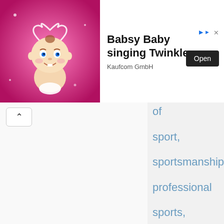[Figure (screenshot): Advertisement banner for Babsy Baby singing Twinkle app by Kaufcom GmbH, with animated baby illustration on pink background, Open button, and close/info icons]
of sport, sportsmanship, professional sports, aesthetic appeal of sport, nationalism and sport,